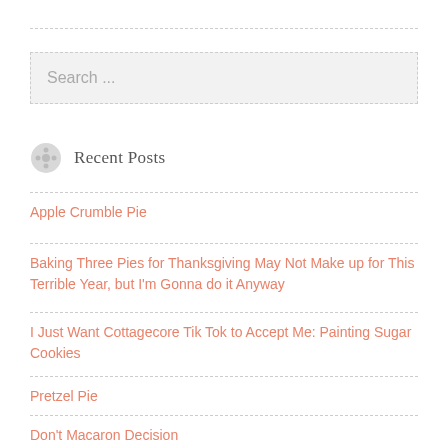Search ...
Recent Posts
Apple Crumble Pie
Baking Three Pies for Thanksgiving May Not Make up for This Terrible Year, but I'm Gonna do it Anyway
I Just Want Cottagecore Tik Tok to Accept Me: Painting Sugar Cookies
Pretzel Pie
Don't Macaron Decision